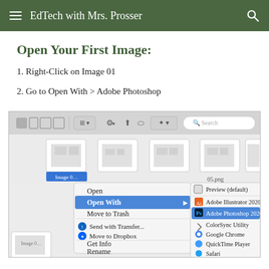EdTech with Mrs. Prosser
Open Your First Image:
1. Right-Click on Image 01
2. Go to Open With > Adobe Photoshop
[Figure (screenshot): macOS Finder window showing a right-click context menu with 'Open With' highlighted in blue, and a submenu showing options including Preview (default), Adobe Illustrator 2020, Adobe Photoshop 2020 (highlighted in blue), ColorSync Utility, Google Chrome, QuickTime Player, and Safari. Other menu items visible: Open, Move to Trash, Send with Transfer..., Move to Dropbox, Get Info, Rename.]